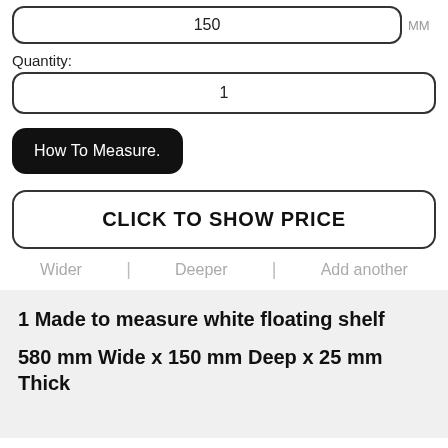150
MM
Quantity:
1
How To Measure.
CLICK TO SHOW PRICE
Wider | Deeper | Add another
1 Made to measure white floating shelf
580 mm Wide x 150 mm Deep x 25 mm Thick